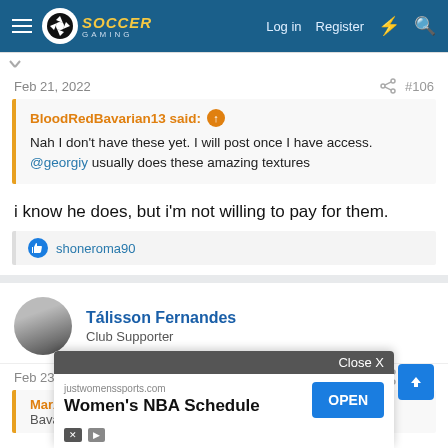Soccer Gaming Forum - Log in Register
Feb 21, 2022 #106
BloodRedBavarian13 said: Nah I don't have these yet. I will post once I have access. @georgiy usually does these amazing textures
i know he does, but i'm not willing to pay for them.
shoneroma90
Tálisson Fernandes
Club Supporter
Feb 23, 2022 #107
MarAle... said:
Bavaria... his best? I... back
[Figure (screenshot): Advertisement overlay from justwomenssports.com promoting Women's NBA Schedule with Close X button and OPEN button]